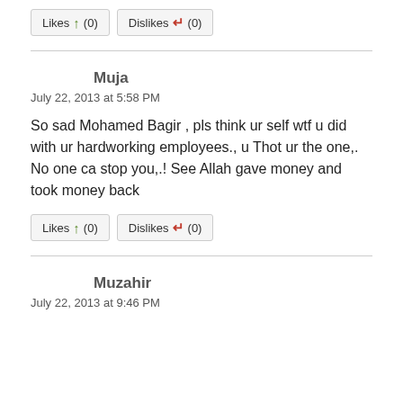watch 3amm
Likes (0)   Dislikes (0)
Muja
July 22, 2013 at 5:58 PM
So sad Mohamed Bagir , pls think ur self wtf u did with ur hardworking employees., u Thot ur the one,. No one ca stop you,.! See Allah gave money and took money back
Likes (0)   Dislikes (0)
Muzahir
July 22, 2013 at 9:46 PM